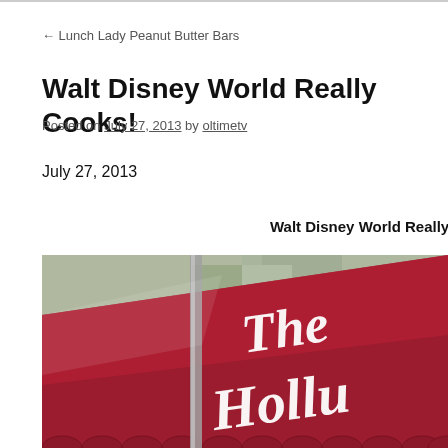← Lunch Lady Peanut Butter Bars
Walt Disney World Really Cooks!
Posted on July 27, 2013 by oltimetv
July 27, 2013
Walt Disney World Really Co…
[Figure (photo): Photo of a red awning with white cursive script reading 'The Holly…' (The Hollywood Brown Derby or similar Disney Hollywood Studios restaurant sign), with trees visible in the background]